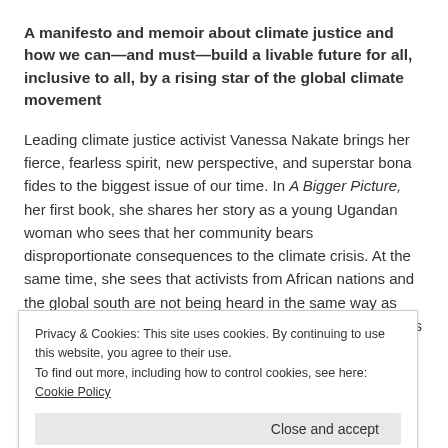A manifesto and memoir about climate justice and how we can—and must—build a livable future for all, inclusive to all, by a rising star of the global climate movement
Leading climate justice activist Vanessa Nakate brings her fierce, fearless spirit, new perspective, and superstar bona fides to the biggest issue of our time. In A Bigger Picture, her first book, she shares her story as a young Ugandan woman who sees that her community bears disproportionate consequences to the climate crisis. At the same time, she sees that activists from African nations and the global south are not being heard in the same way as activists from white nations are heard. Inspired by Sweden's
Privacy & Cookies: This site uses cookies. By continuing to use this website, you agree to their use.
To find out more, including how to control cookies, see here: Cookie Policy
Close and accept
Nakate's mere presence has revealed rampant inequalities